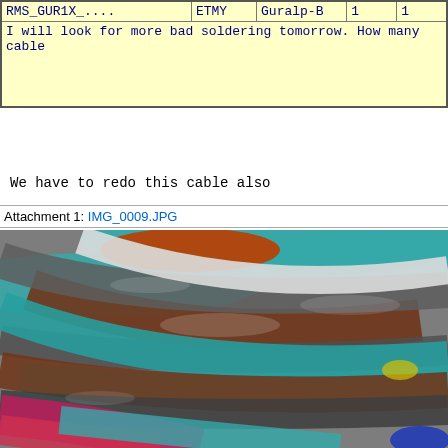| Channel | Location | Sensor | Col4 | Col5 |
| --- | --- | --- | --- | --- |
| RMS_GUR1X_.... | ETMY | Guralp-B | 1 | 1 |
I will look for more bad soldering tomorrow. How many cable
We have to redo this cable also
Attachment 1: IMG_0009.JPG
[Figure (photo): Close-up photograph of a bundle of multi-colored cables/wires including teal, brown, gray, white, red, pink, orange, blue, and yellow.]